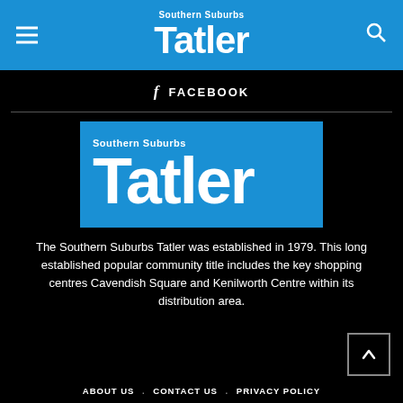Southern Suburbs Tatler
FACEBOOK
[Figure (logo): Southern Suburbs Tatler logo on blue background with large white bold text]
The Southern Suburbs Tatler was established in 1979. This long established popular community title includes the key shopping centres Cavendish Square and Kenilworth Centre within its distribution area.
ABOUT US . CONTACT US . PRIVACY POLICY